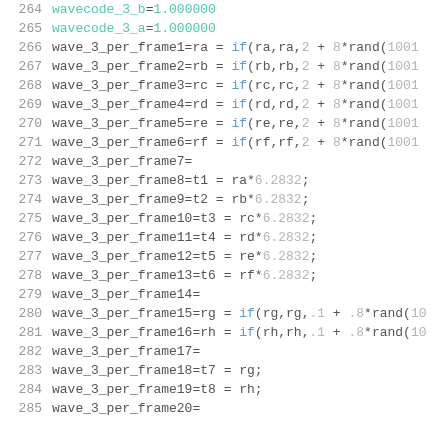264  wavecode_3_b=1.000000
265  wavecode_3_a=1.000000
266  wave_3_per_frame1=ra = if(ra,ra,2 + 8*rand(1001
267  wave_3_per_frame2=rb = if(rb,rb,2 + 8*rand(1001
268  wave_3_per_frame3=rc = if(rc,rc,2 + 8*rand(1001
269  wave_3_per_frame4=rd = if(rd,rd,2 + 8*rand(1001
270  wave_3_per_frame5=re = if(re,re,2 + 8*rand(1001
271  wave_3_per_frame6=rf = if(rf,rf,2 + 8*rand(1001
272  wave_3_per_frame7=
273  wave_3_per_frame8=t1 = ra*6.2832;
274  wave_3_per_frame9=t2 = rb*6.2832;
275  wave_3_per_frame10=t3 = rc*6.2832;
276  wave_3_per_frame11=t4 = rd*6.2832;
277  wave_3_per_frame12=t5 = re*6.2832;
278  wave_3_per_frame13=t6 = rf*6.2832;
279  wave_3_per_frame14=
280  wave_3_per_frame15=rg = if(rg,rg,.1 + .8*rand(10
281  wave_3_per_frame16=rh = if(rh,rh,.1 + .8*rand(10
282  wave_3_per_frame17=
283  wave_3_per_frame18=t7 = rg;
284  wave_3_per_frame19=t8 = rh;
285  wave_3_per_frame20=